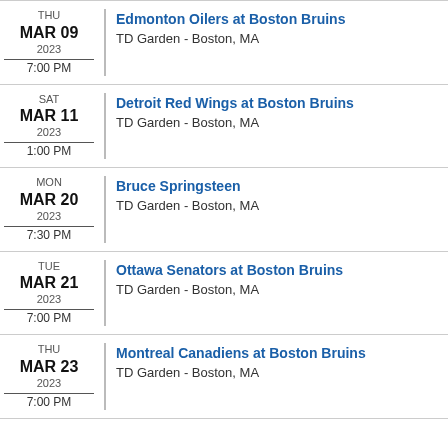THU MAR 09 2023 7:00 PM | Edmonton Oilers at Boston Bruins | TD Garden - Boston, MA
SAT MAR 11 2023 1:00 PM | Detroit Red Wings at Boston Bruins | TD Garden - Boston, MA
MON MAR 20 2023 7:30 PM | Bruce Springsteen | TD Garden - Boston, MA
TUE MAR 21 2023 7:00 PM | Ottawa Senators at Boston Bruins | TD Garden - Boston, MA
THU MAR 23 2023 7:00 PM | Montreal Canadiens at Boston Bruins | TD Garden - Boston, MA